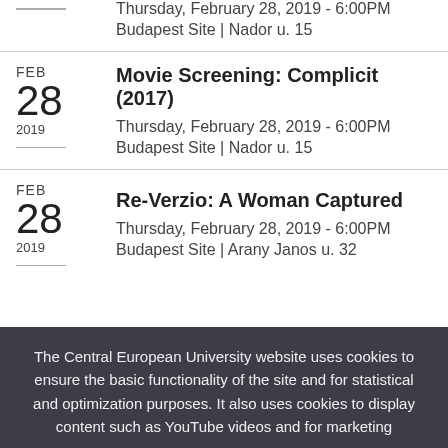Thursday, February 28, 2019 - 6:00PM
Budapest Site | Nador u. 15
Movie Screening: Complicit (2017)
Thursday, February 28, 2019 - 6:00PM
Budapest Site | Nador u. 15
Re-Verzio: A Woman Captured
Thursday, February 28, 2019 - 6:00PM
Budapest Site | Arany Janos u. 32
The Central European University website uses cookies to ensure the basic functionality of the site and for statistical and optimization purposes. It also uses cookies to display content such as YouTube videos and for marketing